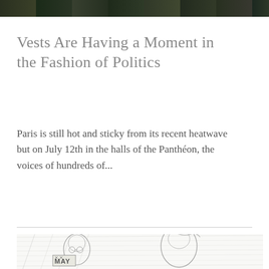[Figure (photo): Top strip of a photograph showing people outdoors, cropped to a narrow band at the top of the page.]
Vests Are Having a Moment in the Fashion of Politics
Paris is still hot and sticky from its recent heatwave but on July 12th in the halls of the Panthéon, the voices of hundreds of...
[Figure (illustration): Pencil sketch illustration of political caricatures including figures with exaggerated features, one holding a sign reading 'MAY'.]